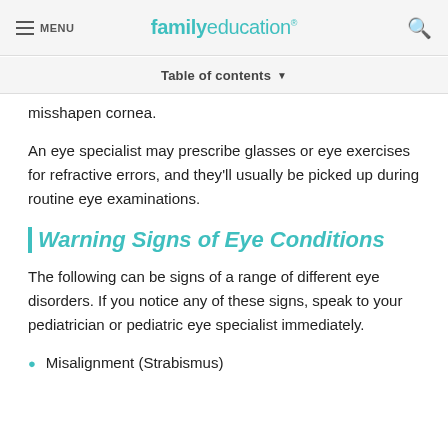MENU | familyeducation
Table of contents ▼
misshapen cornea.
An eye specialist may prescribe glasses or eye exercises for refractive errors, and they'll usually be picked up during routine eye examinations.
Warning Signs of Eye Conditions
The following can be signs of a range of different eye disorders. If you notice any of these signs, speak to your pediatrician or pediatric eye specialist immediately.
Misalignment (Strabismus)